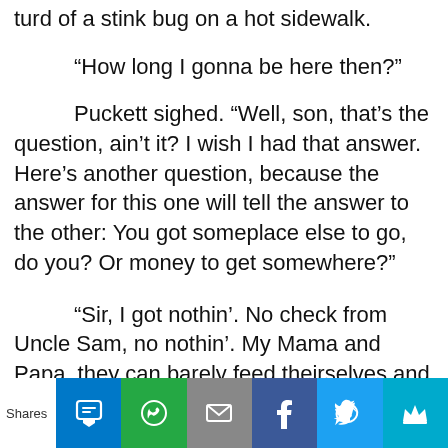turd of a stink bug on a hot sidewalk.
“How long I gonna be here then?”
Puckett sighed. “Well, son, that’s the question, ain’t it? I wish I had that answer. Here’s another question, because the answer for this one will tell the answer to the other: You got someplace else to go, do you? Or money to get somewhere?”
“Sir, I got nothin’. No check from Uncle Sam, no nothin’. My Mama and Papa, they can barely feed theirselves and my brother. We got nothin’, and no way t’ get nothin’ ‘cause the Army said they didn’t need me no more an’ put me outta work like a used up donkey.”
Shares